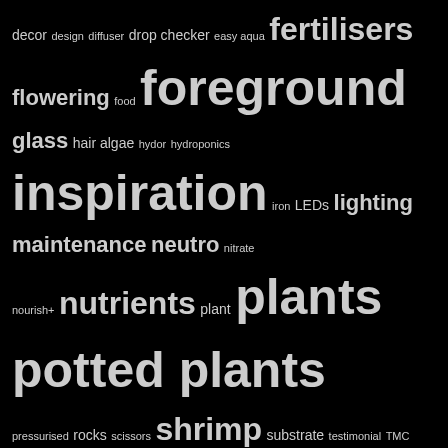decor design diffuser drop checker easy aqua fertilisers flowering food foreground glass hair algae hydor hydroponics inspiration iron LEDs lighting maintenance neutro nitrate nourish+ nutrients plant plants potted plants pressurised rocks scissors shrimp substrate testimonial TMC tropica water youtube
AUGUST 2022
| M | T | W | T | F | S | S |
| --- | --- | --- | --- | --- | --- | --- |
| 1 | 2 | 3 | 4 | 5 | 6 | 7 |
| 8 | 9 | 10 | 11 | 12 | 13 | 14 |
| 15 | 16 | 17 | 18 | 19 | 20 | 21 |
| 22 | 23 | 24 | 25 | 26 | 27 | 28 |
| 29 | 30 | 31 |  |  |  |  |
« Feb